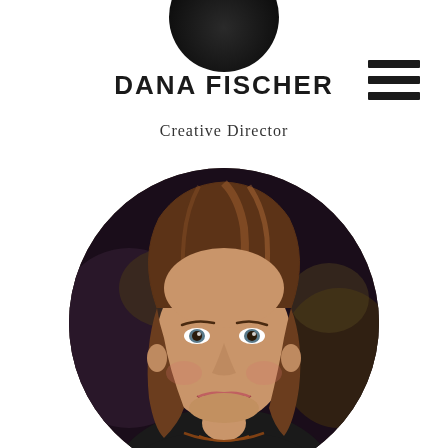[Figure (photo): Partial circular cropped headshot photo at top of page, showing the bottom portion of a person's face/shoulders against dark background]
DANA FISCHER
Creative Director
[Figure (photo): Circular portrait photo of Dana Fischer, a woman with medium-length brown hair, smiling warmly, wearing a dark top with a necklace, photographed at what appears to be an event with blurred background lighting]